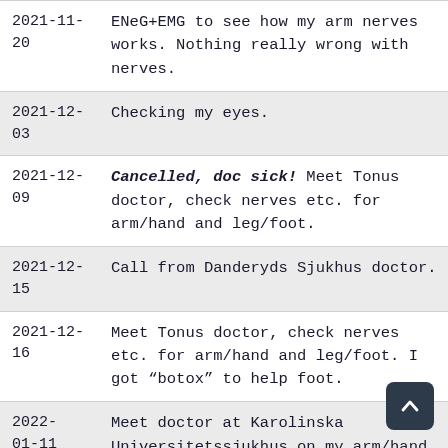| Date | Note |
| --- | --- |
| 2021-11-20 | ENeG+EMG to see how my arm nerves works. Nothing really wrong with nerves. |
| 2021-12-03 | Checking my eyes. |
| 2021-12-09 | Cancelled, doc sick! Meet Tonus doctor, check nerves etc. for arm/hand and leg/foot. |
| 2021-12-15 | Call from Danderyds Sjukhus doctor. |
| 2021-12-16 | Meet Tonus doctor, check nerves etc. for arm/hand and leg/foot. I got "botox" to help foot. |
| 2022-01-11 | Meet doctor at Karolinska Universitetssjukhus on my arm/hand.
Result: "Just keep on training |